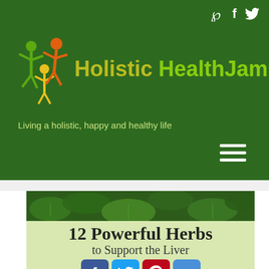[Figure (logo): Holistic HealthJam website header with green background, logo of two figures, site name, tagline, social icons, and hamburger menu]
[Figure (photo): Green herb leaves photo banner at top of article]
12 Powerful Herbs to Support the Liver
[Figure (infographic): Social share buttons: Facebook, Twitter, Pinterest, and Plus]